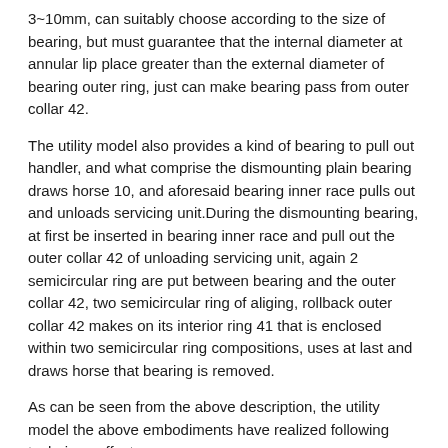3~10mm, can suitably choose according to the size of bearing, but must guarantee that the internal diameter at annular lip place greater than the external diameter of bearing outer ring, just can make bearing pass from outer collar 42.
The utility model also provides a kind of bearing to pull out handler, and what comprise the dismounting plain bearing draws horse 10, and aforesaid bearing inner race pulls out and unloads servicing unit.During the dismounting bearing, at first be inserted in bearing inner race and pull out the outer collar 42 of unloading servicing unit, again 2 semicircular ring are put between bearing and the outer collar 42, two semicircular ring of aliging, rollback outer collar 42 makes on its interior ring 41 that is enclosed within two semicircular ring compositions, uses at last and draws horse that bearing is removed.
As can be seen from the above description, the utility model the above embodiments have realized following technique effect:
Pull out the bearing that unloads servicing unit and have it